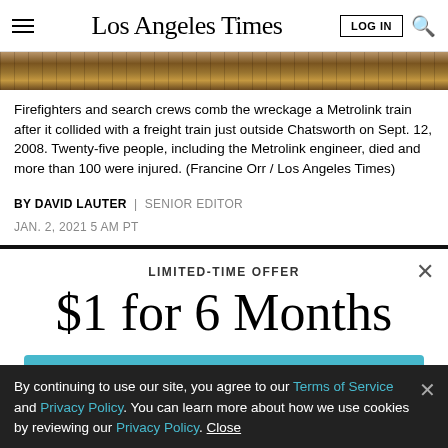Los Angeles Times
[Figure (photo): Photo strip showing firefighters and search crews combing through Metrolink train wreckage]
Firefighters and search crews comb the wreckage a Metrolink train after it collided with a freight train just outside Chatsworth on Sept. 12, 2008. Twenty-five people, including the Metrolink engineer, died and more than 100 were injured. (Francine Orr / Los Angeles Times)
BY DAVID LAUTER | SENIOR EDITOR
JAN. 2, 2021 5 AM PT
LIMITED-TIME OFFER
$1 for 6 Months
SUBSCRIBE NOW
By continuing to use our site, you agree to our Terms of Service and Privacy Policy. You can learn more about how we use cookies by reviewing our Privacy Policy. Close